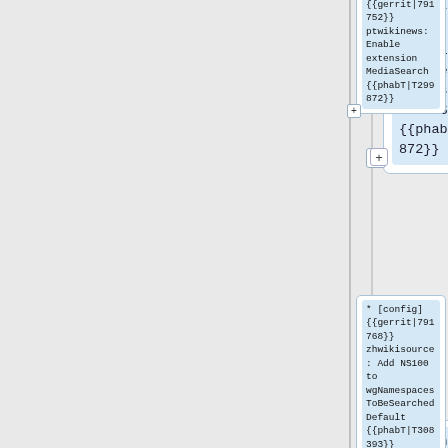{{gerrit|791752}} ptwikinews: Enable extension MediaSearch {{phabT|T299872}}
* [config] {{gerrit|791768}} zhwikisource: Add NS100 to wgNamespacesToBeSearchedDefault {{phabT|T308393}}
* [config] {{gerrit|791...